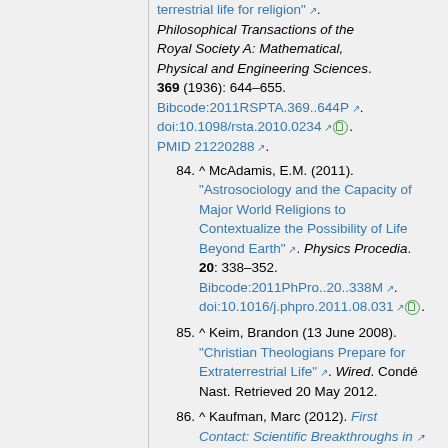terrestrial life for religion". Philosophical Transactions of the Royal Society A: Mathematical, Physical and Engineering Sciences. 369 (1936): 644–655. Bibcode:2011RSPTA.369..644P. doi:10.1098/rsta.2010.0234. PMID 21220288.
84. ^ McAdamis, E.M. (2011). "Astrosociology and the Capacity of Major World Religions to Contextualize the Possibility of Life Beyond Earth". Physics Procedia. 20: 338–352. Bibcode:2011PhPro..20..338M. doi:10.1016/j.phpro.2011.08.031.
85. ^ Keim, Brandon (13 June 2008). "Christian Theologians Prepare for Extraterrestrial Life". Wired. Condé Nast. Retrieved 20 May 2012.
86. ^ Kaufman, Marc (2012). First Contact: Scientific Breakthroughs in